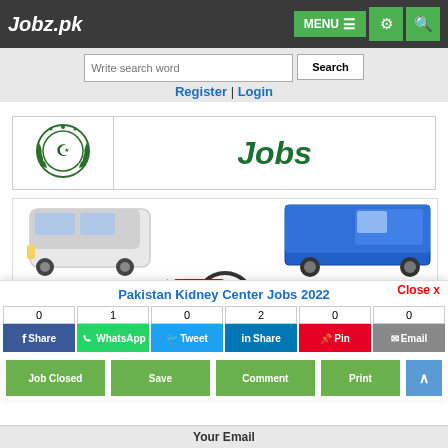Jobz.pk | MENU | Settings | Search
Write search word | Search
Register | Login
[Figure (logo): Pakistan government emblem with Jobs text in green]
[Figure (photo): Collage of vehicles: white bus, blue truck, yellow auto-rickshaw, red motorcycle, white SUV car]
Pakistan Kidney Center Jobs 2022
Close x
0 Share | 1 WhatsApp | 0 Tweet | 2 Share | 0 Pin | 0 Email
Job Closed | Save | Comment | Print
Your Email